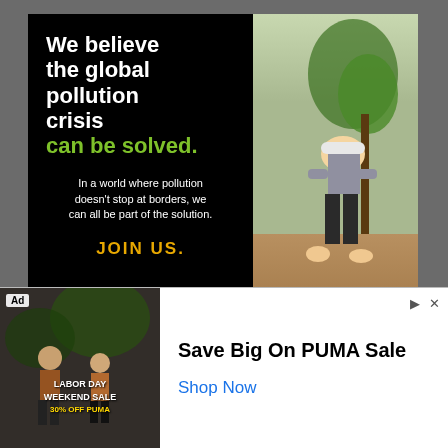[Figure (illustration): Pure Earth organization advertisement with black left panel containing headline text 'We believe the global pollution crisis can be solved.' in white and green, body text about pollution, JOIN US call to action in gold, Pure Earth logo with diamond, and right panel showing photo of man in hard hat planting a tree.]
report this ad
[Figure (logo): NHIC - National Home Improvement Council red logo with white stylized letters NHIC and small text below.]
© DIY Doctor Ltd 2022 All Rights Reserved
[Figure (illustration): Bottom advertisement banner: Left side shows Labor Day Weekend Sale 30% off PUMA with dark background. Right side shows 'Save Big On PUMA Sale' text and 'Shop Now' in blue link.]